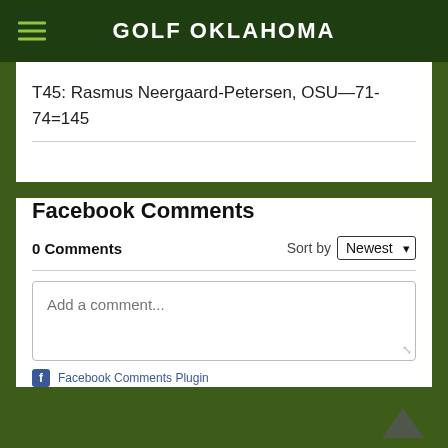GOLF OKLAHOMA
T45: Rasmus Neergaard-Petersen, OSU—71-74=145
Facebook Comments
0 Comments	Sort by Newest
Add a comment...
Facebook Comments Plugin